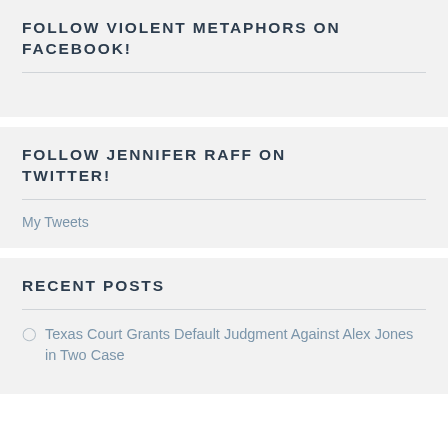FOLLOW VIOLENT METAPHORS ON FACEBOOK!
FOLLOW JENNIFER RAFF ON TWITTER!
My Tweets
RECENT POSTS
Texas Court Grants Default Judgment Against Alex Jones in Two Case